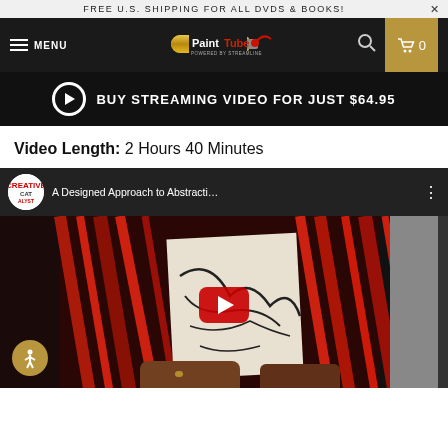FREE U.S. SHIPPING FOR ALL DVDS & BOOKS!
PaintTube — MENU navigation bar with cart
BUY STREAMING VIDEO FOR JUST $64.95
Video Length: 2 Hours 40 Minutes
[Figure (screenshot): YouTube video preview for 'A Designed Approach to Abstracti...' by Creative Catalyst, showing abstract red painted artwork with black line drawing on paper, with YouTube play button overlay]